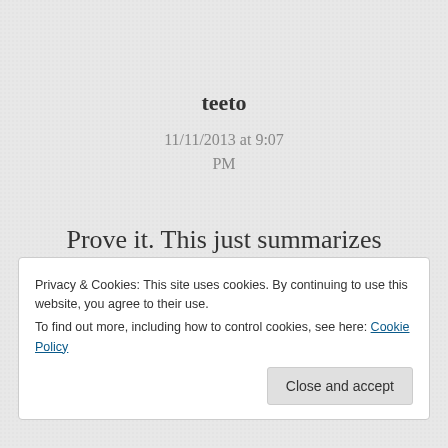teeto
11/11/2013 at 9:07 PM
Prove it. This just summarizes his Wikipedia Page and
Privacy & Cookies: This site uses cookies. By continuing to use this website, you agree to their use.
To find out more, including how to control cookies, see here: Cookie Policy
Close and accept
Reply